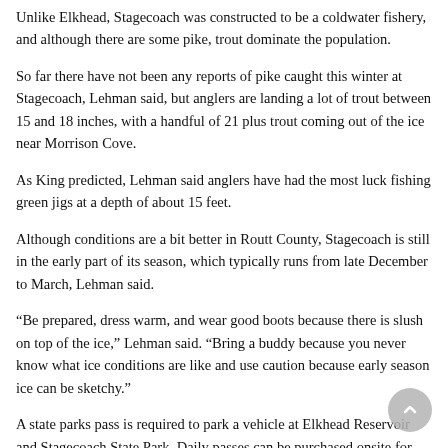Unlike Elkhead, Stagecoach was constructed to be a coldwater fishery, and although there are some pike, trout dominate the population.
So far there have not been any reports of pike caught this winter at Stagecoach, Lehman said, but anglers are landing a lot of trout between 15 and 18 inches, with a handful of 21 plus trout coming out of the ice near Morrison Cove.
As King predicted, Lehman said anglers have had the most luck fishing green jigs at a depth of about 15 feet.
Although conditions are a bit better in Routt County, Stagecoach is still in the early part of its season, which typically runs from late December to March, Lehman said.
“Be prepared, dress warm, and wear good boots because there is slush on top of the ice,” Lehman said. “Bring a buddy because you never know what ice conditions are like and use caution because early season ice can be sketchy.”
A state parks pass is required to park a vehicle at Elkhead Reservoir and Stagecoach State Park. Daily passes can be purchased onsite for $7. An annual pass, which can be